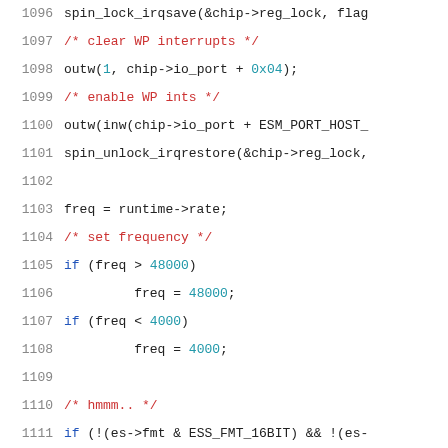Source code listing, lines 1096-1117, C kernel driver code with syntax highlighting
1096: spin_lock_irqsave(&chip->reg_lock, flag
1097: /* clear WP interrupts */
1098: outw(1, chip->io_port + 0x04);
1099: /* enable WP ints */
1100: outw(inw(chip->io_port + ESM_PORT_HOST_
1101: spin_unlock_irqrestore(&chip->reg_lock,
1102: (blank)
1103: freq = runtime->rate;
1104: /* set frequency */
1105: if (freq > 48000)
1106:         freq = 48000;
1107: if (freq < 4000)
1108:         freq = 4000;
1109: (blank)
1110: /* hmmm.. */
1111: if (!(es->fmt & ESS_FMT_16BIT) && !(es-
1112:         freq >>= 1;
1113: (blank)
1114: freq = snd_es1968_compute_rate(chip, fr
1115: (blank)
1116: /* Load the frequency, turn on 6dB */
1117: snd_es1968_apu_set_freq(chip, es->apu[0